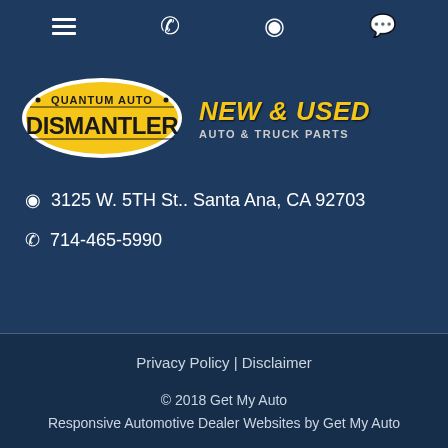≡  📞  📍  💬
[Figure (logo): Quantum Auto Dismantler logo — yellow oval with 'QUANTUM AUTO' text above 'DISMANTLER' in large black text, followed by 'NEW & USED AUTO & TRUCK PARTS' in bold yellow and grey text]
📍 3125 W. 5TH St.. Santa Ana, CA 92703
📞 714-465-5990
Privacy Policy | Disclaimer
© 2018 Get My Auto
Responsive Automotive Dealer Websites by Get My Auto